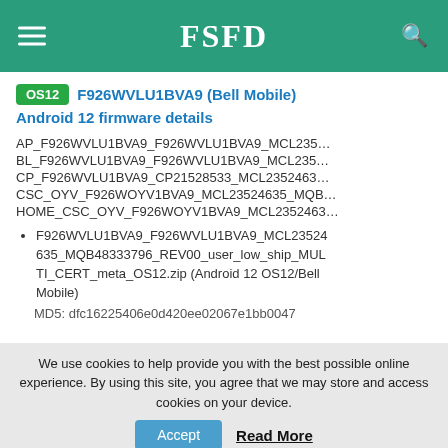FSFD
OS12 F926WVLU1BVA9 (Bell Mobile) Android 12 firmware details
AP_F926WVLU1BVA9_F926WVLU1BVA9_MCL235...
BL_F926WVLU1BVA9_F926WVLU1BVA9_MCL235...
CP_F926WVLU1BVA9_CP21528533_MCL2352463...
CSC_OYV_F926WOYV1BVA9_MCL23524635_MQB...
HOME_CSC_OYV_F926WOYV1BVA9_MCL2352463...
F926WVLU1BVA9_F926WVLU1BVA9_MCL23524635_MQB48333796_REV00_user_low_ship_MULTI_CERT_meta_OS12.zip (Android 12 OS12/Bell Mobile)
MD5: dfc16225406e0d420ee02067e1bb0047
We use cookies to help provide you with the best possible online experience. By using this site, you agree that we may store and access cookies on your device.